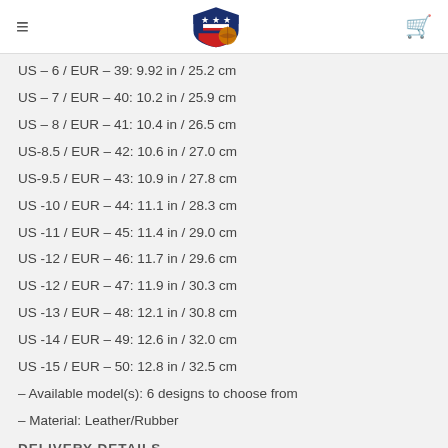Navigation header with logo
US – 6 / EUR – 39: 9.92 in / 25.2 cm
US – 7 / EUR – 40: 10.2 in / 25.9 cm
US – 8 / EUR – 41: 10.4 in / 26.5 cm
US-8.5 / EUR – 42: 10.6 in / 27.0 cm
US-9.5 / EUR – 43: 10.9 in / 27.8 cm
US -10 / EUR – 44: 11.1 in / 28.3 cm
US -11 / EUR – 45: 11.4 in / 29.0 cm
US -12 / EUR – 46: 11.7 in / 29.6 cm
US -12 / EUR – 47: 11.9 in / 30.3 cm
US -13 / EUR – 48: 12.1 in / 30.8 cm
US -14 / EUR – 49: 12.6 in / 32.0 cm
US -15 / EUR – 50: 12.8 in / 32.5 cm
– Available model(s): 6 designs to choose from
– Material: Leather/Rubber
DELIVERY DETAILS